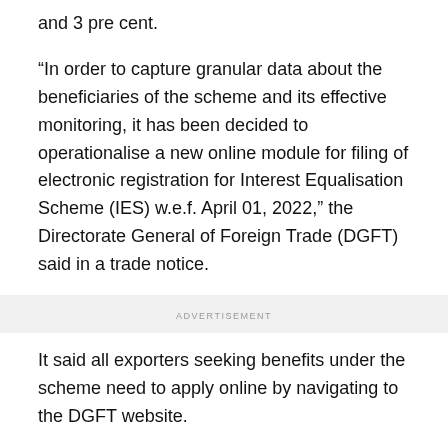and 3 pre cent.
“In order to capture granular data about the beneficiaries of the scheme and its effective monitoring, it has been decided to operationalise a new online module for filing of electronic registration for Interest Equalisation Scheme (IES) w.e.f. April 01, 2022,” the Directorate General of Foreign Trade (DGFT) said in a trade notice.
ADVERTISEMENT
It said all exporters seeking benefits under the scheme need to apply online by navigating to the DGFT website.
A Unique IES Identification Number (UIN) will be